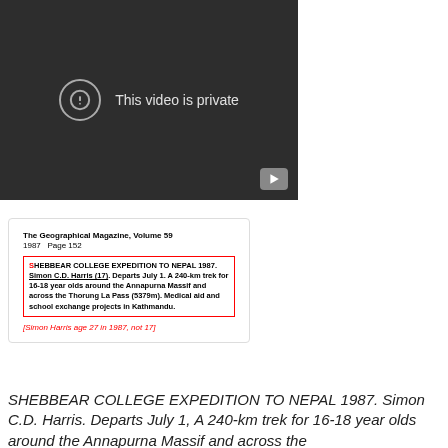[Figure (screenshot): A dark video player screenshot showing 'This video is private' message with a circle exclamation icon and a play button in the bottom right.]
[Figure (screenshot): Scanned page from The Geographical Magazine, Volume 59, 1987, Page 152. Shows a highlighted article excerpt about SHEBBEAR COLLEGE EXPEDITION TO NEPAL 1987 by Simon C.D. Harris (17), departing July 1, a 240-km trek for 16-18 year olds around the Annapurna Massif and across the Thorung La Pass (5379m). Medical aid and school exchange projects in Kathmandu. Below in red italic: [Simon Harris age 27 in 1987, not 17]]
SHEBBEAR COLLEGE EXPEDITION TO NEPAL 1987. Simon C.D. Harris. Departs July 1, A 240-km trek for 16-18 year olds around the Annapurna Massif and across the